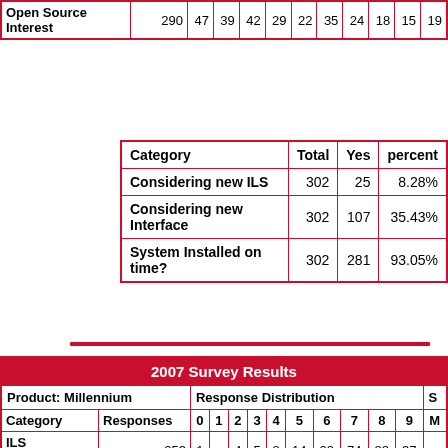|  |  |  |  |  |  |  |  |  |  |  |  |
| --- | --- | --- | --- | --- | --- | --- | --- | --- | --- | --- | --- |
| Open Source Interest | 290 | 47 | 39 | 42 | 29 | 22 | 35 | 24 | 18 | 15 | 19 |
| Category | Total | Yes | percent |
| --- | --- | --- | --- |
| Considering new ILS | 302 | 25 | 8.28% |
| Considering new Interface | 302 | 107 | 35.43% |
| System Installed on time? | 302 | 281 | 93.05% |
| 2007 Survey Results |
| --- |
| Product: Millennium | Response Distribution |  |  |  |  |  |  |  |  |  | S |
| Category | Responses | 0 | 1 | 2 | 3 | 4 | 5 | 6 | 7 | 8 | 9 | M |
| ILS Satisfaction | 253 | 1 |  | 4 | 5 | 8 | 14 | 22 | 74 | 88 | 37 |  |